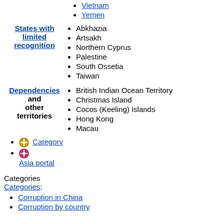Vietnam
Yemen
Abkhazia
Artsakh
Northern Cyprus
Palestine
South Ossetia
Taiwan
British Indian Ocean Territory
Christmas Island
Cocos (Keeling) Islands
Hong Kong
Macau
Category
Asia portal
Categories
Categories:
Corruption in China
Corruption by country